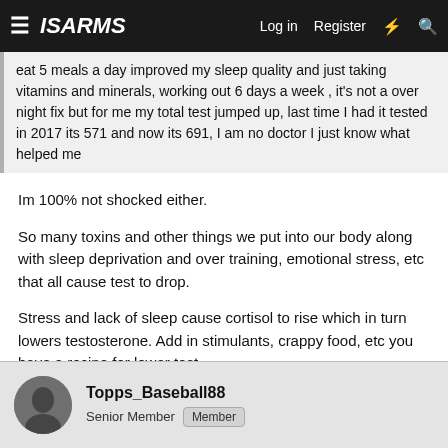ISARMS  Log in  Register
eat 5 meals a day improved my sleep quality and just taking vitamins and minerals, working out 6 days a week , it's not a over night fix but for me my total test jumped up, last time I had it tested in 2017 its 571 and now its 691, I am no doctor I just know what helped me
Im 100% not shocked either.
So many toxins and other things we put into our body along with sleep deprivation and over training, emotional stress, etc that all cause test to drop.
Stress and lack of sleep cause cortisol to rise which in turn lowers testosterone. Add in stimulants, crappy food, etc you have a recipe for lower test.
Topps_Baseball88
Senior Member  Member